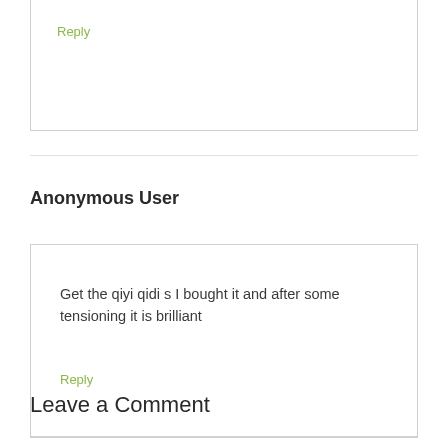Reply
Anonymous User
Get the qiyi qidi s I bought it and after some tensioning it is brilliant
Reply
Leave a Comment